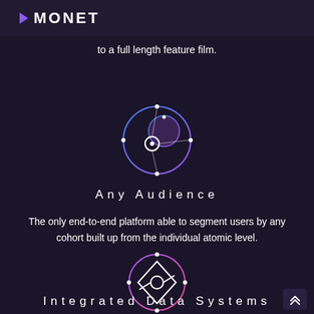MONET
to a full length feature film.
[Figure (logo): Circular icon with overlapping circles and nodes, blue-to-purple gradient, representing 'Any Audience']
Any Audience
The only end-to-end platform able to segment users by any cohort built up from the individual atomic level.
[Figure (logo): Circular icon with a diamond/rhombus shape and central circle with connector lines, pink-to-purple gradient, representing 'Integrated Data Systems']
Integrated Data Systems